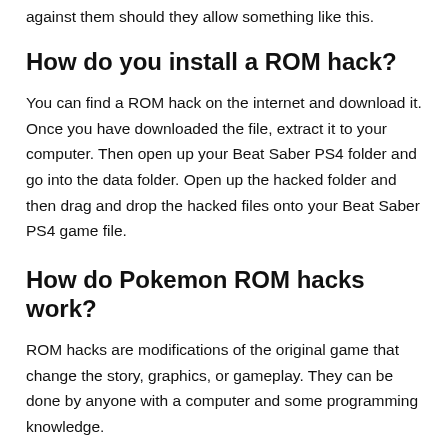against them should they allow something like this.
How do you install a ROM hack?
You can find a ROM hack on the internet and download it. Once you have downloaded the file, extract it to your computer. Then open up your Beat Saber PS4 folder and go into the data folder. Open up the hacked folder and then drag and drop the hacked files onto your Beat Saber PS4 game file.
How do Pokemon ROM hacks work?
ROM hacks are modifications of the original game that change the story, graphics, or gameplay. They can be done by anyone with a computer and some programming knowledge.